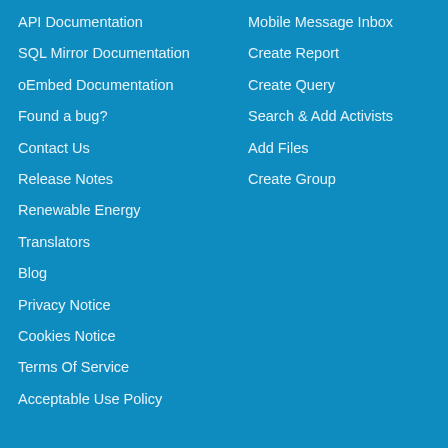API Documentation
SQL Mirror Documentation
oEmbed Documentation
Found a bug?
Contact Us
Release Notes
Renewable Energy
Translators
Blog
Privacy Notice
Cookies Notice
Terms Of Service
Acceptable Use Policy
Mobile Message Inbox
Create Report
Create Query
Search & Add Activists
Add Files
Create Group